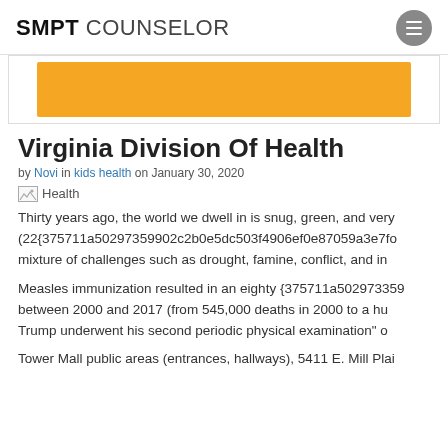SMPT COUNSELOR
[Figure (other): Orange banner/decorative bar at top of article]
Virginia Division Of Health
by Novi in kids health on January 30, 2020
[Figure (photo): Broken image placeholder labeled Health]
Thirty years ago, the world we dwell in is snug, green, and very (22{375711a50297359902c2b0e5dc503f4906ef0e87059a3e7fo mixture of challenges such as drought, famine, conflict, and in
Measles immunization resulted in an eighty {375711a502973359 between 2000 and 2017 (from 545,000 deaths in 2000 to a hu Trump underwent his second periodic physical examination" o
Tower Mall public areas (entrances, hallways), 5411 E. Mill Plai